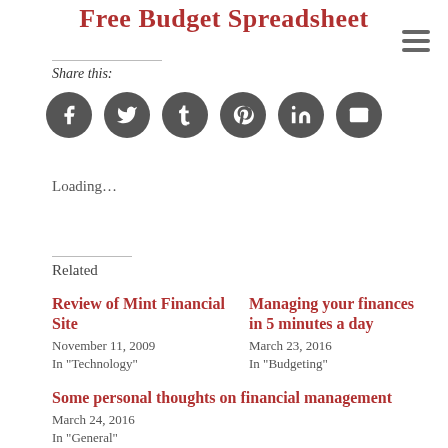Free Budget Spreadsheet
Share this:
[Figure (other): Row of social sharing icon buttons: Facebook, Twitter, Tumblr, Pinterest, LinkedIn, Email]
Loading...
Related
Review of Mint Financial Site
November 11, 2009
In "Technology"
Managing your finances in 5 minutes a day
March 23, 2016
In "Budgeting"
Some personal thoughts on financial management
March 24, 2016
In "General"